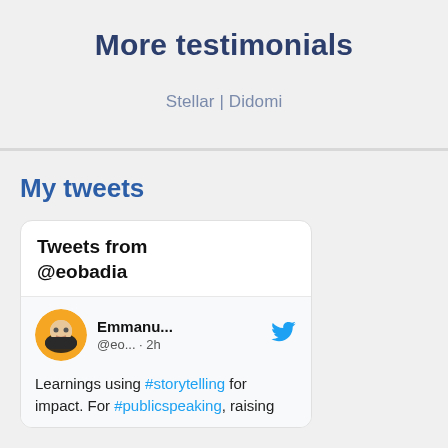More testimonials
Stellar | Didomi
My tweets
Tweets from @eobadia
Emmanu... @eo... · 2h
Learnings using #storytelling for impact. For #publicspeaking, raising